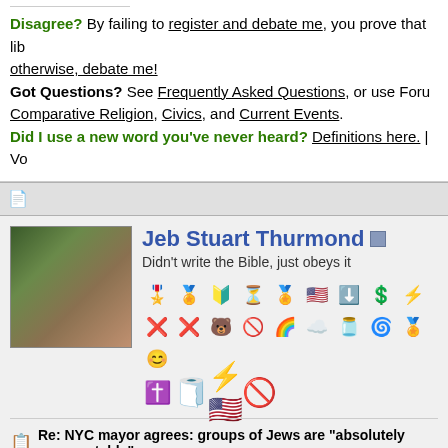Disagree? By failing to register and debate me, you prove that lib otherwise, debate me! Got Questions? See Frequently Asked Questions, or use Foru Comparative Religion, Civics, and Current Events. Did I use a new word you've never heard? Definitions here. | Vo
[Figure (screenshot): Forum post section divider bar with document icon]
Jeb Stuart Thurmond - Didn't write the Bible, just obeys it
[Figure (photo): Profile photo of a middle-aged man with beard and glasses against green foliage background]
[Figure (infographic): Row of forum badge/award icons]
Re: NYC mayor agrees: groups of Jews are "absolutely unacceptable" -
https://twitter.com/benshapiro/statu...61821670346752